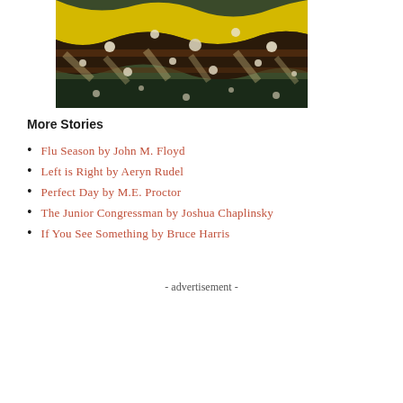[Figure (illustration): Abstract colorful illustration with snake or fabric-like pattern in yellow, black, brown, cream, and green tones]
More Stories
Flu Season by John M. Floyd
Left is Right by Aeryn Rudel
Perfect Day by M.E. Proctor
The Junior Congressman by Joshua Chaplinsky
If You See Something by Bruce Harris
- advertisement -